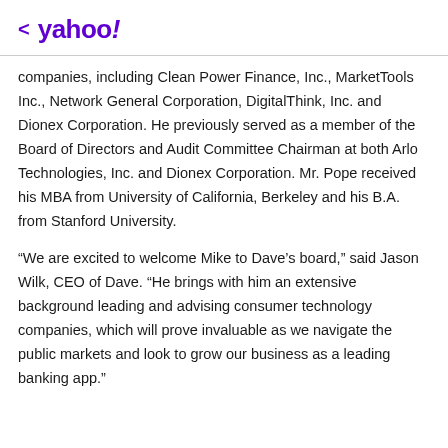< yahoo!
companies, including Clean Power Finance, Inc., MarketTools Inc., Network General Corporation, DigitalThink, Inc. and Dionex Corporation. He previously served as a member of the Board of Directors and Audit Committee Chairman at both Arlo Technologies, Inc. and Dionex Corporation. Mr. Pope received his MBA from University of California, Berkeley and his B.A. from Stanford University.
“We are excited to welcome Mike to Dave’s board,” said Jason Wilk, CEO of Dave. “He brings with him an extensive background leading and advising consumer technology companies, which will prove invaluable as we navigate the public markets and look to grow our business as a leading banking app.”